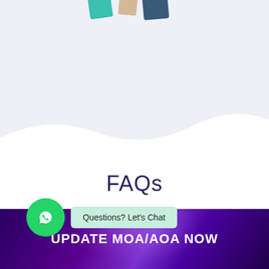[Figure (illustration): Partial view of colorful letter shapes (teal, tan, navy) at the top of the page against a light blue-gray background with a wave divider curving into a white section below.]
FAQs
[Figure (illustration): Green circular WhatsApp icon button on the left, with a light green 'Questions? Let's Chat' button to its right.]
Questions? Let's Chat
UPDATE MOA/AOA NOW